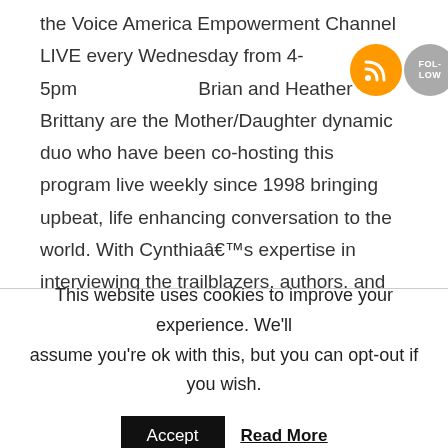the Voice America Empowerment Channel LIVE every Wednesday from 4-5pm. Brian and Heather Brittany are the Mother/Daughter dynamic duo who have been co-hosting this program live weekly since 1998 bringing upbeat, life enhancing conversation to the world. With Cynthiaâs expertise in interviewing the trailblazers, authors, and experts and Heatherâs healthy living segments, these Goddess Gals are your personal growth coaches helping you to jumpstart your life while igniting your flame of greatness. Brought to the
[Figure (other): Social media icons: RSS feed (orange), Follow (grey), Facebook (blue), Twitter (blue)]
This website uses cookies to improve your experience. We'll assume you're ok with this, but you can opt-out if you wish.